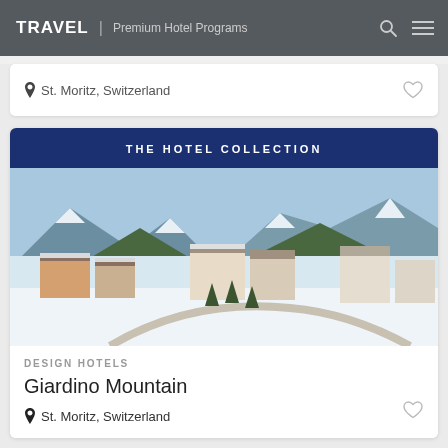TRAVEL | Premium Hotel Programs
St. Moritz, Switzerland
THE HOTEL COLLECTION
[Figure (photo): Aerial winter view of St. Moritz, Switzerland showing snow-covered buildings, frozen lake, and mountain backdrop]
DESIGN HOTELS
Giardino Mountain
St. Moritz, Switzerland